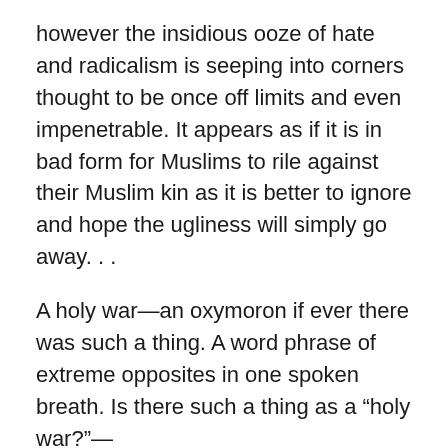however the insidious ooze of hate and radicalism is seeping into corners thought to be once off limits and even impenetrable. It appears as if it is in bad form for Muslims to rile against their Muslim kin as it is better to ignore and hope the ugliness will simply go away. . .
A holy war—an oxymoron if ever there was such a thing. A word phrase of extreme opposites in one spoken breath. Is there such a thing as a “holy war?”—
Yes—but it is of a Divine nature, as the Heavenly Host wages war against Satan and all that is evil and full of darkness. It is what transpired as Jesus descended into Hell, only to rise victorious 3 days later. Yet Satan continues to walk this earth and still works to wield his madness as we remain in the crosshairs, as the earth remains under his dominion—the battle wages, yet the war has been won.